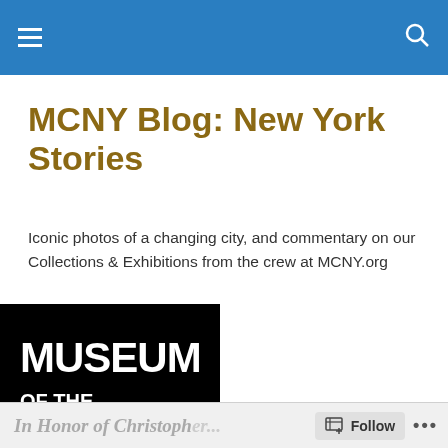Navigation bar with hamburger menu and search icon
MCNY Blog: New York Stories
Iconic photos of a changing city, and commentary on our Collections & Exhibitions from the crew at MCNY.org
[Figure (logo): Museum of the City of New York logo — white text on black background reading MUSEUM OF THE CITY OF NEW YORK]
In Honor of Christopher... Follow ...